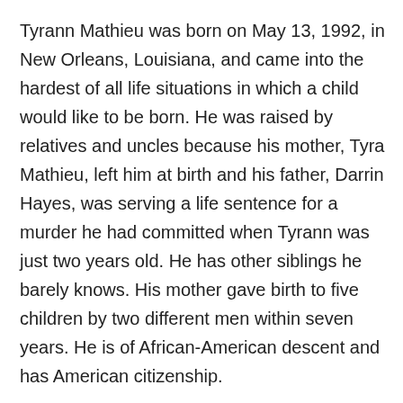Tyrann Mathieu was born on May 13, 1992, in New Orleans, Louisiana, and came into the hardest of all life situations in which a child would like to be born. He was raised by relatives and uncles because his mother, Tyra Mathieu, left him at birth and his father, Darrin Hayes, was serving a life sentence for a murder he had committed when Tyrann was just two years old. He has other siblings he barely knows. His mother gave birth to five children by two different men within seven years. He is of African-American descent and has American citizenship.